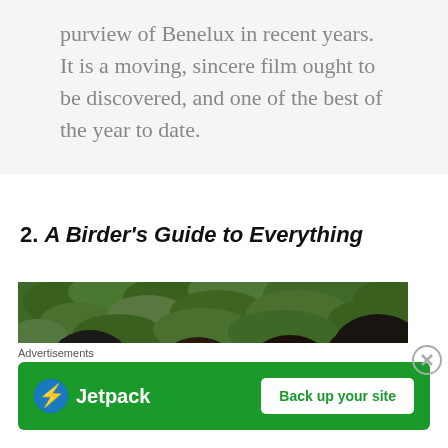purview of Benelux in recent years. It is a moving, sincere film ought to be discovered, and one of the best of the year to date.
2. A Birder's Guide to Everything
[Figure (photo): Four young people (teenagers/young adults) looking upward with expressions of wonder against a dense green foliage background]
Advertisements
[Figure (other): Jetpack advertisement banner with green background, Jetpack logo on left and 'Back up your site' button on right]